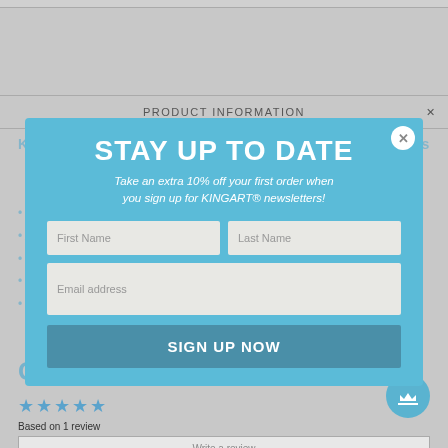PRODUCT INFORMATION
KINGART® Studio Twin-Tip™ Metallic Pens, 10 Unique Colors
10 shimmering colors
Add metallic effects to any project
Flat brush & fine tips
Non-toxic & water based
Quick drying
[Figure (screenshot): Email sign-up modal overlay with light blue background. Contains bold white text 'STAY UP TO DATE', italic subtitle 'Take an extra 10% off your first order when you sign up for KINGART® newsletters!', input fields for First Name, Last Name, and Email address, and a 'SIGN UP NOW' button in teal.]
Customer Reviews
Based on 1 review
Write a review